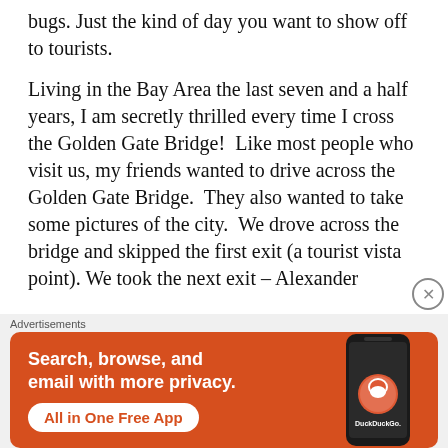bugs. Just the kind of day you want to show off to tourists.
Living in the Bay Area the last seven and a half years, I am secretly thrilled every time I cross the Golden Gate Bridge!  Like most people who visit us, my friends wanted to drive across the Golden Gate Bridge.  They also wanted to take some pictures of the city.  We drove across the bridge and skipped the first exit (a tourist vista point). We took the next exit – Alexander
Advertisements
[Figure (screenshot): DuckDuckGo advertisement banner on orange background. Text reads: Search, browse, and email with more privacy. All in One Free App. Shows a phone with DuckDuckGo logo.]